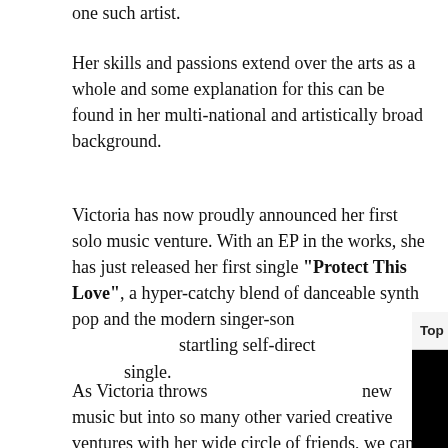one such artist.
Her skills and passions extend over the arts as a whole and some explanation for this can be found in her multi-national and artistically broad background.
Victoria has now proudly announced her first solo music venture. With an EP in the works, she has just released her first single "Protect This Love", a hyper-catchy blend of danceable synth pop and the modern singer-songwriter one would expect) startling self-directed single.
[Figure (screenshot): A video popup overlay with title bar reading 'Top Entertainment: - What's Coming an...' with a close button (X), a black video area with a muted (yellow circle with speaker/X icon) button and a loading spinner arc in teal/cyan.]
As Victoria throws new music but into so many other varied creative ventures with her wide circle of friends, we can look forward to more surprises, more